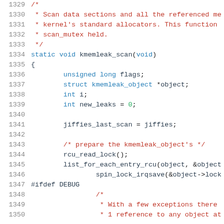Source code listing lines 1329-1350, kmemleak_scan function in C
1329  /*
1330   * Scan data sections and all the referenced me
1331   * kernel's standard allocators. This function
1332   * scan_mutex held.
1333   */
1334  static void kmemleak_scan(void)
1335  {
1336          unsigned long flags;
1337          struct kmemleak_object *object;
1338          int i;
1339          int new_leaks = 0;
1340
1341          jiffies_last_scan = jiffies;
1342
1343          /* prepare the kmemleak_object's */
1344          rcu_read_lock();
1345          list_for_each_entry_rcu(object, &object
1346                  spin_lock_irqsave(&object->lock
1347  #ifdef DEBUG
1348                  /*
1349                   * With a few exceptions there
1350                   * 1 reference to any object at